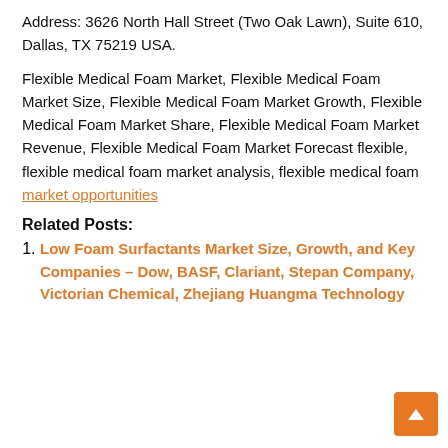Address: 3626 North Hall Street (Two Oak Lawn), Suite 610, Dallas, TX 75219 USA.
Flexible Medical Foam Market, Flexible Medical Foam Market Size, Flexible Medical Foam Market Growth, Flexible Medical Foam Market Share, Flexible Medical Foam Market Revenue, Flexible Medical Foam Market Forecast flexible, flexible medical foam market analysis, flexible medical foam market opportunities
Related Posts:
Low Foam Surfactants Market Size, Growth, and Key Companies – Dow, BASF, Clariant, Stepan Company, Victorian Chemical, Zhejiang Huangma Technology